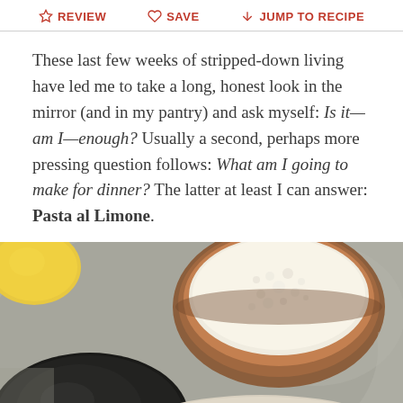REVIEW | SAVE | JUMP TO RECIPE
These last few weeks of stripped-down living have led me to take a long, honest look in the mirror (and in my pantry) and ask myself: Is it—am I—enough? Usually a second, perhaps more pressing question follows: What am I going to make for dinner? The latter at least I can answer: Pasta al Limone.
[Figure (photo): Overhead photo of cooking ingredients including a wooden bowl filled with grated parmesan cheese, a yellow lemon, a dark cast iron pan, and a plate with pasta/shredded cheese on a grey stone surface.]